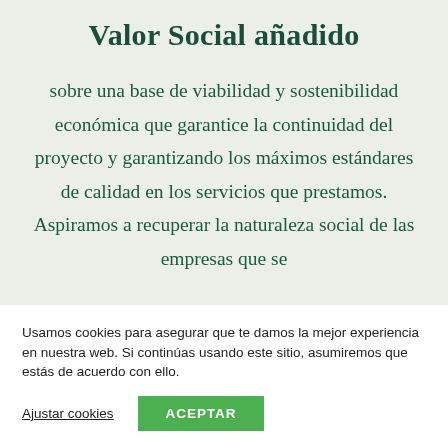Valor Social añadido
sobre una base de viabilidad y sostenibilidad económica que garantice la continuidad del proyecto y garantizando los máximos estándares de calidad en los servicios que prestamos. Aspiramos a recuperar la naturaleza social de las empresas que se
Usamos cookies para asegurar que te damos la mejor experiencia en nuestra web. Si continúas usando este sitio, asumiremos que estás de acuerdo con ello.
Ajustar cookies
ACEPTAR